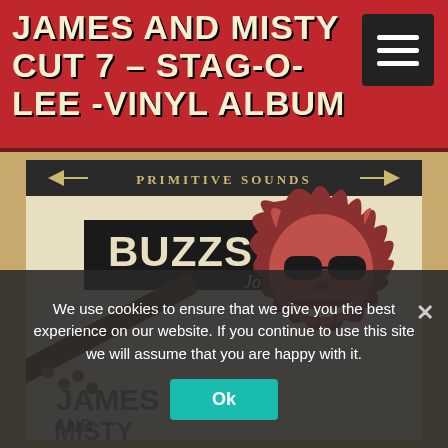JAMES AND MISTY CUT 7 – STAG-O-LEE -VINYL ALBUM
[Figure (illustration): Buzzsaw Joint / Primitive Sounds vinyl album cover featuring cartoon devil character with sunglasses playing guitar, with 'JAMES AND MISTY' text at bottom]
We use cookies to ensure that we give you the best experience on our website. If you continue to use this site we will assume that you are happy with it.